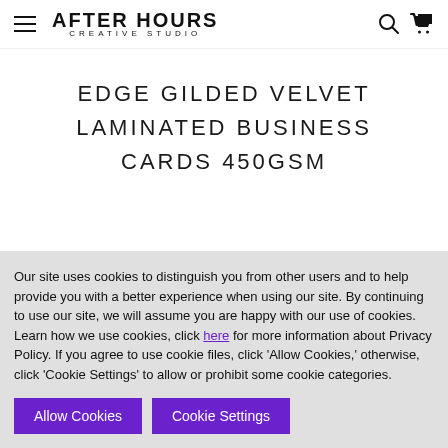AFTER HOURS CREATIVE STUDIO
EDGE GILDED VELVET LAMINATED BUSINESS CARDS 450GSM
Our site uses cookies to distinguish you from other users and to help provide you with a better experience when using our site. By continuing to use our site, we will assume you are happy with our use of cookies. Learn how we use cookies, click here for more information about Privacy Policy. If you agree to use cookie files, click 'Allow Cookies,' otherwise, click 'Cookie Settings' to allow or prohibit some cookie categories.
Allow Cookies | Cookie Settings